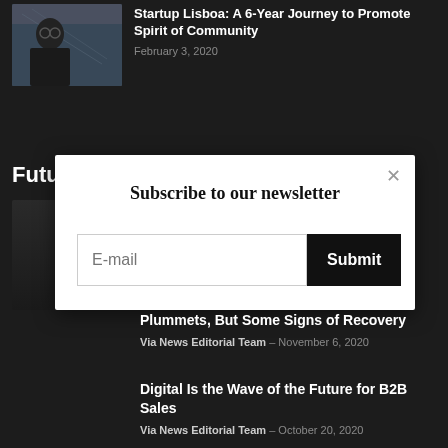[Figure (photo): Thumbnail photo of a person (man with glasses) with a bridge visible in background]
Startup Lisboa: A 6-Year Journey to Promote Spirit of Community
February 3, 2020
Futu
[Figure (photo): Dark thumbnail image for article about Lisbon short-term rentals]
[Figure (screenshot): Newsletter subscription modal popup with email input field and Submit button]
Lisbons Short-Term Rentals: Occupancy Plummets, But Some Signs of Recovery
Via News Editorial Team – November 6, 2020
Digital Is the Wave of the Future for B2B Sales
Via News Editorial Team – October 20, 2020